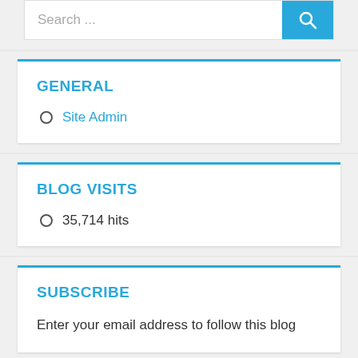[Figure (screenshot): Search bar with text 'Search ...' and a blue search button with magnifying glass icon]
GENERAL
Site Admin
BLOG VISITS
35,714 hits
SUBSCRIBE
Enter your email address to follow this blog